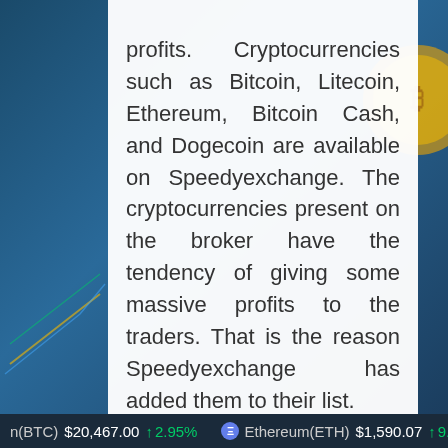profits. Cryptocurrencies such as Bitcoin, Litecoin, Ethereum, Bitcoin Cash, and Dogecoin are available on Speedyexchange. The cryptocurrencies present on the broker have the tendency of giving some massive profits to the traders. That is the reason Speedyexchange has added them to their list.

Besides foreign exchange pairs
n(BTC) $20,467.00 ↑ 2.95%   Ethereum(ETH) $1,590.07 ↑ 9.48%